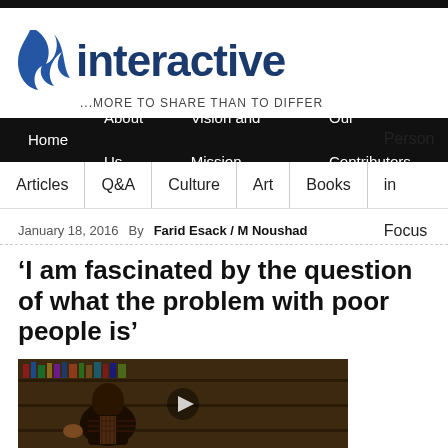[Figure (logo): Interactive logo with blue flame/arrow icon and text 'interactive' in dark blue, tagline '...MORE TO SHARE THAN TO DIFFER']
Home  About Us  Vision and Mission  Our Contributors
Articles  Q&A  Culture  Art  Books  Person in Focus
January 18, 2016  By  Farid Esack / M Noushad
‘I am fascinated by the question of what the problem with poor people is’
[Figure (photo): Person seated at a desk with bookshelves visible in the background]